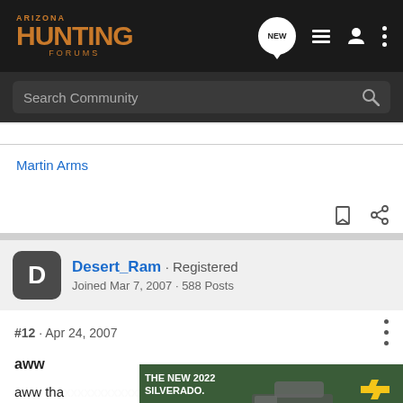Arizona Hunting Forums
Search Community
Martin Arms
Desert_Ram · Registered
Joined Mar 7, 2007 · 588 Posts
#12 · Apr 24, 2007
aww
aww tha... at offer.
it was a...
[Figure (screenshot): Chevrolet advertisement for The New 2022 Silverado with Explore button and Chevrolet logo]